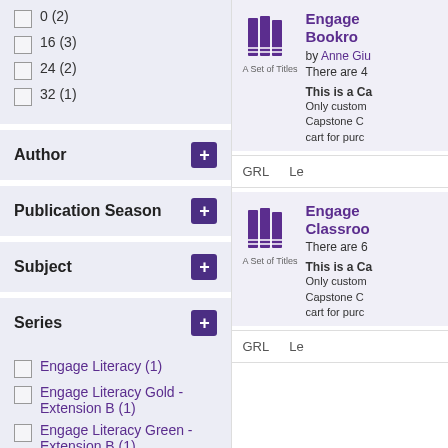0 (2)
16 (3)
24 (2)
32 (1)
Author
Publication Season
Subject
Series
Engage Literacy (1)
Engage Literacy Gold - Extension B (1)
Engage Literacy Green - Extension B (1)
Engage Bookro... by Anne Giu... There are 4
This is a Ca... Only custom... Capstone C... cart for purc...
GRL    Le
Engage Classroo... There are 6
This is a Ca... Only custom... Capstone C... cart for purc...
GRL    Le